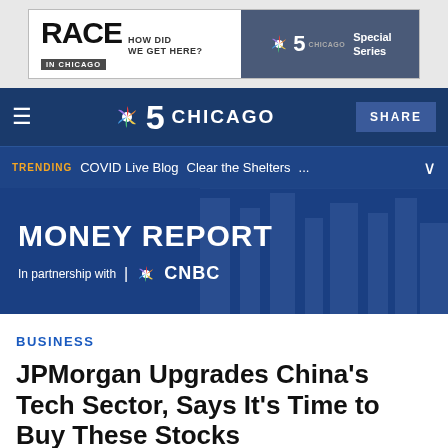[Figure (screenshot): NBC 5 Chicago Race in Chicago advertisement banner — 'RACE IN CHICAGO HOW DID WE GET HERE?' with NBC 5 Chicago Special Series logo on grey background]
NBC 5 CHICAGO — SHARE
TRENDING   COVID Live Blog   Clear the Shelters   ...
[Figure (screenshot): MONEY REPORT hero banner with CNBC partnership logo on dark blue background with city skyline]
BUSINESS
JPMorgan Upgrades China's Tech Sector, Says It's Time to Buy These Stocks